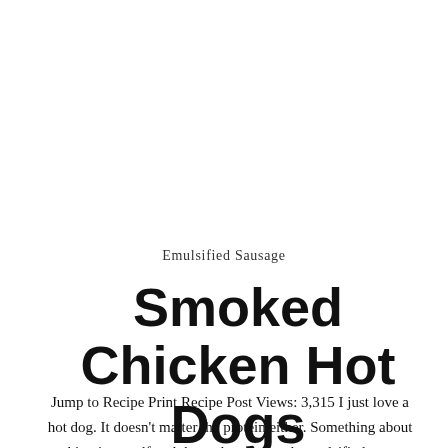Emulsified Sausage
Smoked Chicken Hot Dogs
Jump to Recipe Print Recipe Post Views: 3,315 I just love a hot dog. It doesn't matter the protein either. Something about making it myself and that velvety smooth emulsified texture makes it one of my favorite types of sausages and when it comes to emulsified sausages, texture is king.